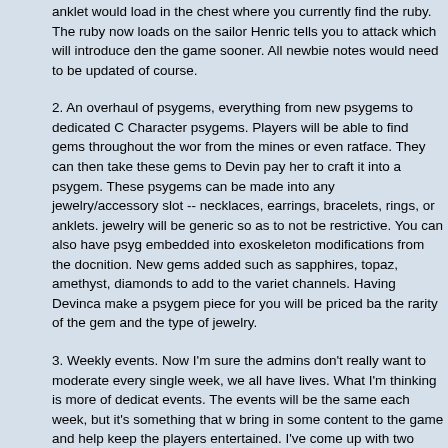anklet would load in the chest where you currently find the ruby. The ruby now loads on the sailor Henric tells you to attack which will introduce den the game sooner. All newbie notes would need to be updated of course.
2. An overhaul of psygems, everything from new psygems to dedicated C Character psygems. Players will be able to find gems throughout the wor from the mines or even ratface. They can then take these gems to Devin pay her to craft it into a psygem. These psygems can be made into any jewelry/accessory slot -- necklaces, earrings, bracelets, rings, or anklets. jewelry will be generic so as to not be restrictive. You can also have psyg embedded into exoskeleton modifications from the docnition. New gems added such as sapphires, topaz, amethyst, diamonds to add to the variet channels. Having Devinca make a psygem piece for you will be priced ba the rarity of the gem and the type of jewelry.
3. Weekly events. Now I'm sure the admins don't really want to moderate every single week, we all have lives. What I'm thinking is more of dedicat events. The events will be the same each week, but it's something that w bring in some content to the game and help keep the players entertained. I've come up with two events currently, thought the goal would be 7 even for each day. Events will grant rewards whether it's experience, money, to you can trade into the admins for items, enlights, etc.
Prison Riot -- Every Sunday sometime during 5pm-7pm EST the jailhous will riot and attempt to escape. It would start with a jailer going into ares